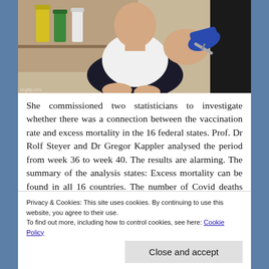[Figure (photo): A person in a white t-shirt sitting and receiving a vaccination injection in the upper arm from a healthcare worker wearing blue gloves, in a clinical setting with medical supplies in the background.]
She commissioned two statisticians to investigate whether there was a connection between the vaccination rate and excess mortality in the 16 federal states. Prof. Dr Rolf Steyer and Dr Gregor Kappler analysed the period from week 36 to week 40. The results are alarming. The summary of the analysis states: Excess mortality can be found in all 16 countries. The number of Covid deaths noted
Privacy & Cookies: This site uses cookies. By continuing to use this website, you agree to their use.
To find out more, including how to control cookies, see here: Cookie Policy
Close and accept
excess mortality. The most direct explanation is: